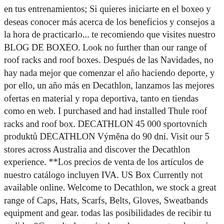en tus entrenamientos; Si quieres iniciarte en el boxeo y deseas conocer más acerca de los beneficios y consejos a la hora de practicarlo... te recomiendo que visites nuestro BLOG DE BOXEO. Look no further than our range of roof racks and roof boxes. Después de las Navidades, no hay nada mejor que comenzar el año haciendo deporte, y por ello, un año más en Decathlon, lanzamos las mejores ofertas en material y ropa deportiva, tanto en tiendas como en web. I purchased and had installed Thule roof racks and roof box. DECATHLON 45 000 sportovních produktů DECATHLON Výměna do 90 dní. Visit our 5 stores across Australia and discover the Decathlon experience. **Los precios de venta de los artículos de nuestro catálogo incluyen IVA. US Box Currently not available online. Welcome to Decathlon, we stock a great range of Caps, Hats, Scarfs, Belts, Gloves, Sweatbands equipment and gear. todas las posibilidades de recibir tu pedido, *Consulta los métodos, plazos y gastos de envío disponibles en el siguiente. Please inform Apartamentos Decathlon Arysal of your expected arrival time in advance. They were extremely busy but still managed to fit me in. Guests are required to show a photo ID and credit card upon check-